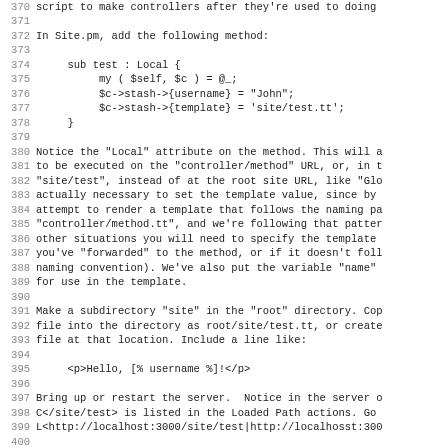370 script to make controllers after they're used to doing...
371
372 In Site.pm, add the following method:
373
374     sub test : Local {
375         my ( $self, $c ) = @_;
376         $c->stash->{username} = "John";
377         $c->stash->{template} = 'site/test.tt';
378     }
379
380 Notice the "Local" attribute on the method. This will a...
381 to be executed on the "controller/method" URL, or, in t...
382 "site/test", instead of at the root site URL, like "Glo...
383 actually necessary to set the template value, since by...
384 attempt to render a template that follows the naming pa...
385 "controller/method.tt", and we're following that patter...
386 other situations you will need to specify the template...
387 you've "forwarded" to the method, or if it doesn't foll...
388 naming convention). We've also put the variable "name"...
389 for use in the template.
390
391 Make a subdirectory "site" in the "root" directory. Cop...
392 file into the directory as root/site/test.tt, or create...
393 file at that location. Include a line like:
394
395     <p>Hello, [% username %]!</p>
396
397 Bring up or restart the server.  Notice in the server o...
398 C</site/test> is listed in the Loaded Path actions. Go...
399 L<http://localhost:3000/site/test|http://localhosst:300...
400
401 You should see your test.tt file displayed, including t...
402 that you set in the controller.